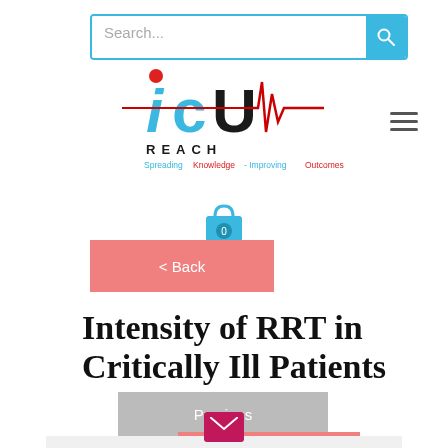[Figure (screenshot): Search bar with blue border and teal search button icon]
[Figure (logo): ICU REACH logo with heartbeat line, tagline: Spreading Knowledge - Improving Outcomes]
[Figure (illustration): Shopping cart/bag icon with 0 badge]
< Back
Intensity of RRT in Critically Ill Patients
Previous
[Figure (illustration): Email icon (envelope) in dark pink/magenta square]
Email